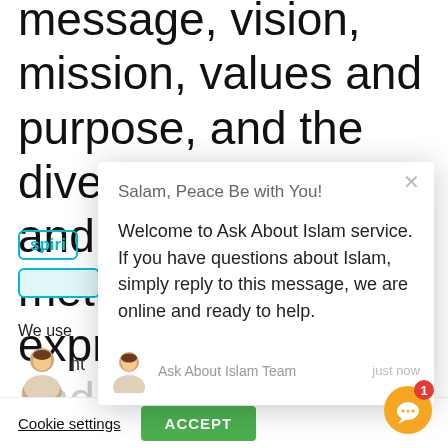message, vision, mission, values and purpose, and the diversity of local and operational methods, expressions, forms and solutions
spirit
We use
ALL the cookies.
Do not sell my personal information.
Cookie settings
ACCEPT
[Figure (screenshot): Chat popup modal with greeting 'Salam, Peace Be with You!' and welcome message from Ask About Islam Team. Includes close button, avatar icon, and 'just now' timestamp.]
[Figure (other): Orange circular chat bubble icon with white chat symbol and red notification badge showing number 1]